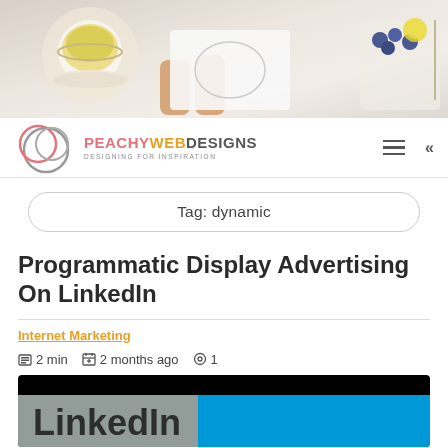[Figure (photo): Header photo showing hands on a marble table with a cup of tea/coffee, a notebook, and food items including blueberries and a lemon slice]
[Figure (logo): Peachy Web Designs logo with interlocking circles in pink/gray and text reading PEACHY WEB DESIGNS with tagline DESIGNING FOR INSPIRATION]
Tag: dynamic
Programmatic Display Advertising On LinkedIn
Internet Marketing
2 min   2 months ago   1
[Figure (photo): Partial thumbnail image with black and blue background, appears to be a LinkedIn advertising related image]